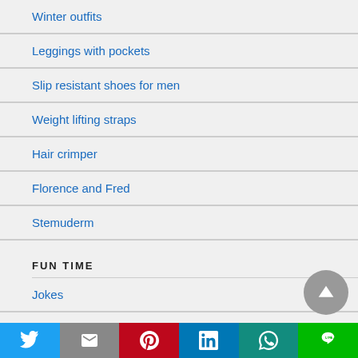Winter outfits
Leggings with pockets
Slip resistant shoes for men
Weight lifting straps
Hair crimper
Florence and Fred
Stemuderm
FUN TIME
Jokes
Quotes